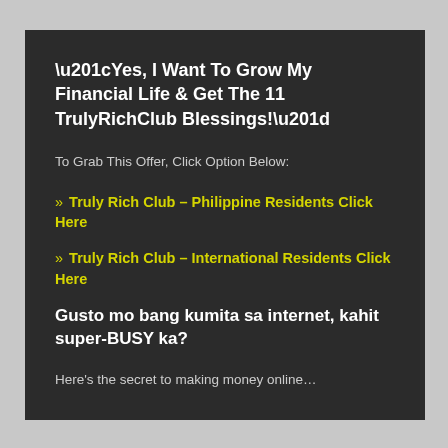“Yes, I Want To Grow My Financial Life & Get The 11 TrulyRichClub Blessings!”
To Grab This Offer, Click Option Below:
» Truly Rich Club – Philippine Residents Click Here
» Truly Rich Club – International Residents Click Here
Gusto mo bang kumita sa internet, kahit super-BUSY ka?
Here’s the secret to making money online…